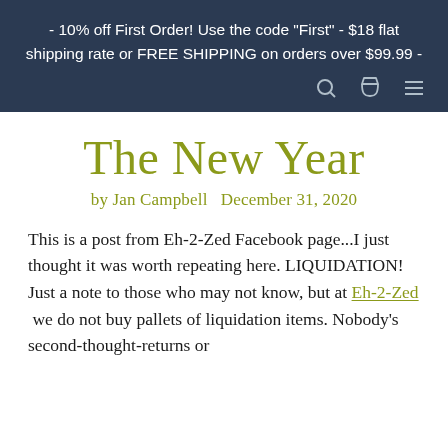- 10% off First Order! Use the code "First" - $18 flat shipping rate or FREE SHIPPING on orders over $99.99 -
The New Year
by Jan Campbell   December 31, 2020
This is a post from Eh-2-Zed Facebook page...I just thought it was worth repeating here. LIQUIDATION!
Just a note to those who may not know, but at Eh-2-Zed  we do not buy pallets of liquidation items. Nobody's second-thought-returns or